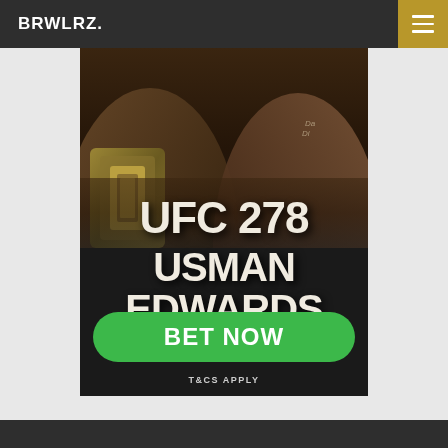BRWLRZ.
[Figure (infographic): UFC 278 promotional advertisement showing two MMA fighters (Usman vs Edwards) with large bold text overlay, a green BET NOW button, and event details. Dark background with fighters in the upper portion.]
UFC 278
USMAN
EDWARDS
SAT, AUG 20 · 6 PM ET
BET NOW
T&CS APPLY